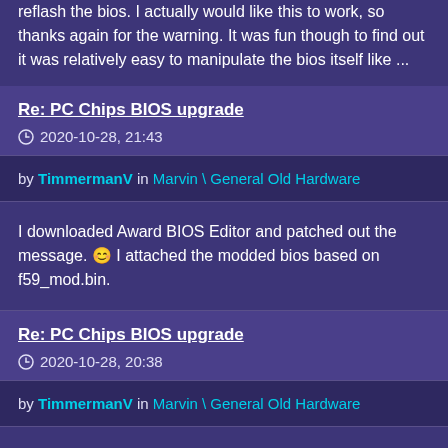reflash the bios. I actually would like this to work, so thanks again for the warning. It was fun though to find out it was relatively easy to manipulate the bios itself like ...
Re: PC Chips BIOS upgrade
2020-10-28, 21:43
by TimmermanV in Marvin \ General Old Hardware
I downloaded Award BIOS Editor and patched out the message. 😊 I attached the modded bios based on f59_mod.bin.
Re: PC Chips BIOS upgrade
2020-10-28, 20:38
by TimmermanV in Marvin \ General Old Hardware